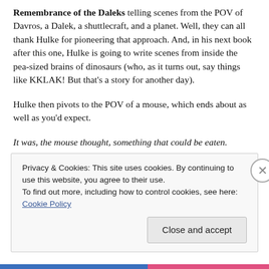Remembrance of the Daleks telling scenes from the POV of Davros, a Dalek, a shuttlecraft, and a planet.  Well, they can all thank Hulke for pioneering that approach. And, in his next book after this one, Hulke is going to write scenes from inside the pea-sized brains of dinosaurs (who, as it turns out, say things like KKLAK!  But that's a story for another day).
Hulke then pivots to the POV of a mouse, which ends about as well as you'd expect.
It was, the mouse thought, something that could be eaten.
Privacy & Cookies: This site uses cookies. By continuing to use this website, you agree to their use.
To find out more, including how to control cookies, see here: Cookie Policy